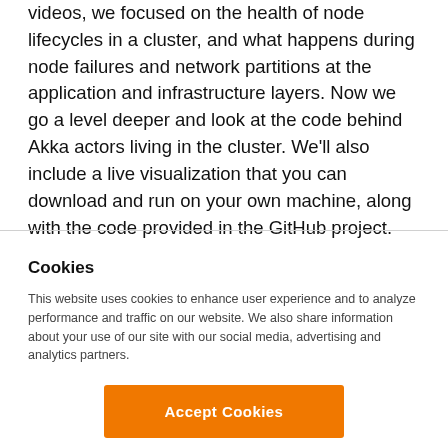videos, we focused on the health of node lifecycles in a cluster, and what happens during node failures and network partitions at the application and infrastructure layers. Now we go a level deeper and look at the code behind Akka actors living in the cluster. We'll also include a live visualization that you can download and run on your own machine, along with the code provided in the GitHub project. The Akka modules we'll describe here include Akka Actors, Akka Cluster, and Akka Cluster Sharding.
Cookies
This website uses cookies to enhance user experience and to analyze performance and traffic on our website. We also share information about your use of our site with our social media, advertising and analytics partners.
Accept Cookies
Do Not Sell My Personal Information